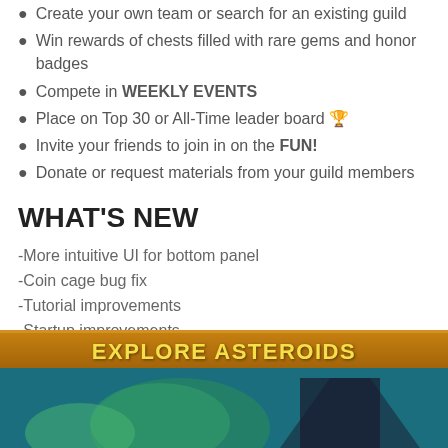Create your own team or search for an existing guild
Win rewards of chests filled with rare gems and honor badges
Compete in WEEKLY EVENTS
Place on Top 30 or All-Time leader board 🏆
Invite your friends to join in on the FUN!
Donate or request materials from your guild members
WHAT'S NEW
-More intuitive UI for bottom panel
-Coin cage bug fix
-Tutorial improvements
-Startup improvements
-Crashfixes
-Bugfixes
[Figure (screenshot): Game screenshot showing 'EXPLORE ASTEROIDS' banner with gold/orange bar and teal space background with game character imagery]